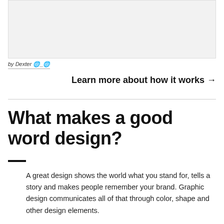[Figure (other): Placeholder image box at top of page]
by Dexter 🌐_🌐
Learn more about how it works →
What makes a good word design?
A great design shows the world what you stand for, tells a story and makes people remember your brand. Graphic design communicates all of that through color, shape and other design elements.